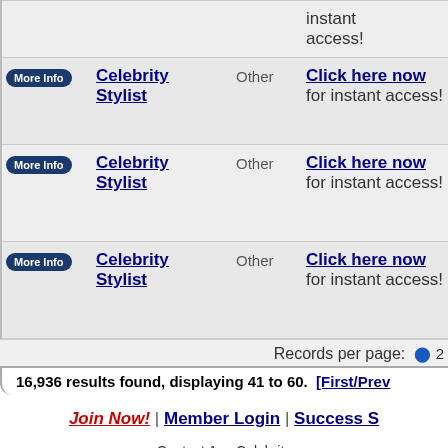|  | Name | Type | Access |
| --- | --- | --- | --- |
| More Info | Celebrity Stylist | Other | Click here now for instant access! |
| More Info | Celebrity Stylist | Other | Click here now for instant access! |
| More Info | Celebrity Stylist | Other | Click here now for instant access! |
Records per page: 20
16,936 results found, displaying 41 to 60. [First/Prev
Join Now! | Member Login | Success S
Contact Any Celebrity
8721 Santa Monica Blvd. #431
West Hollywood, CA 90069-4507
Contact Us